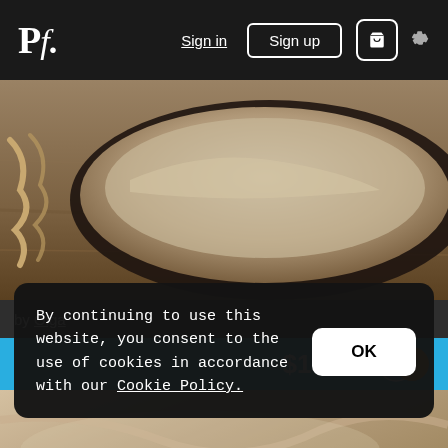Pf. | Sign in | Sign up | Cart | Settings
[Figure (photo): Close-up photo of a bread pan with dough on a wooden surface]
by Olga
$15.71
[Figure (photo): Close-up photo of linen fabric or cloth on a wooden surface]
By continuing to use this website, you consent to the use of cookies in accordance with our Cookie Policy.
OK